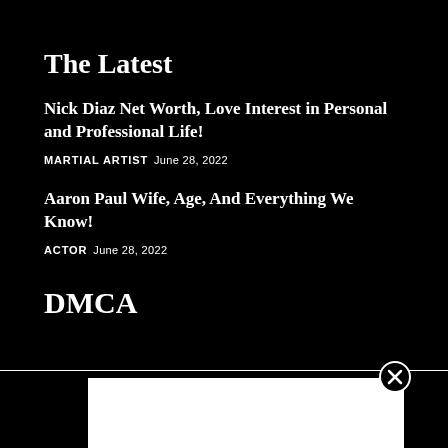The Latest
Nick Diaz Net Worth, Love Interest in Personal and Professional Life!
MARTIAL ARTIST  June 28, 2022
Aaron Paul Wife, Age, And Everything We Know!
ACTOR  June 28, 2022
DMCA
[Figure (other): Bottom banner advertisement with close button (X circle) and white rectangle content area on black background]